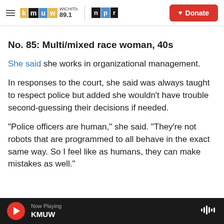KMUW Wichita 89.1 | NPR | Donate
No. 85: Multi/mixed race woman, 40s
She said she works in organizational management.
In responses to the court, she said was always taught to respect police but added she wouldn't have trouble second-guessing their decisions if needed.
"Police officers are human," she said. "They're not robots that are programmed to all behave in the exact same way. So I feel like as humans, they can make mistakes as well."
Now Playing KMUW